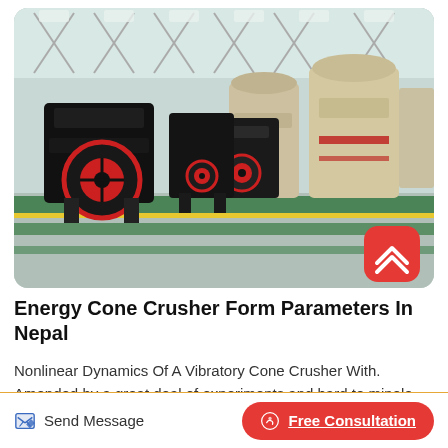[Figure (photo): Factory floor with multiple cone crushers and jaw crushers. Black and red industrial crushing machines on a green-painted concrete floor inside a large industrial facility with exposed roof trusses. Large beige/cream colored cone crushers visible in the background.]
Energy Cone Crusher Form Parameters In Nepal
Nonlinear Dynamics Of A Vibratory Cone Crusher With. Amended by a great deal of experiments and hard to minele means of sense able...